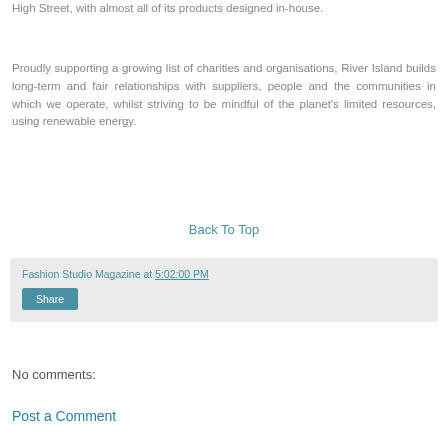High Street, with almost all of its products designed in-house.
Proudly supporting a growing list of charities and organisations, River Island builds long-term and fair relationships with suppliers, people and the communities in which we operate, whilst striving to be mindful of the planet's limited resources, using renewable energy.
Back To Top
Fashion Studio Magazine at 5:02:00 PM
Share
No comments:
Post a Comment